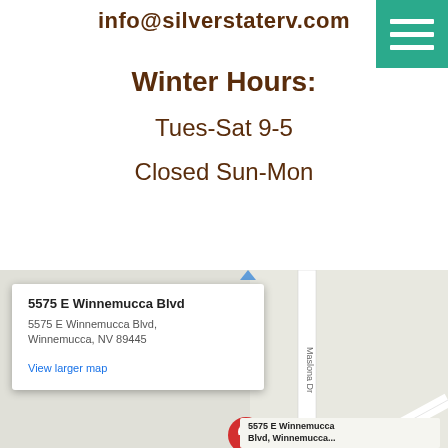info@silverstaterv.com
[Figure (other): Hamburger menu button (teal/green background with three white horizontal lines)]
Winter Hours:
Tues-Sat 9-5
Closed Sun-Mon
[Figure (map): Google map showing 5575 E Winnemucca Blvd, Winnemucca, NV 89445 with a popup info window and road overlay with Maslona Dr visible. A red location pin shows the business location.]